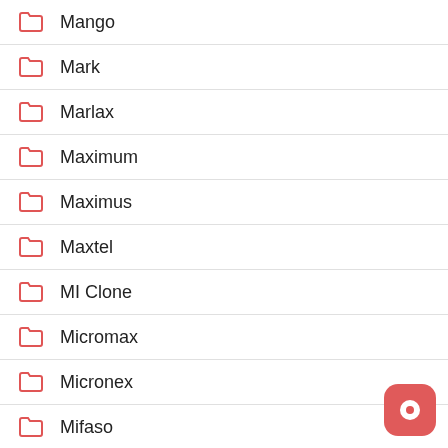Mango
Mark
Marlax
Maximum
Maximus
Maxtel
MI Clone
Micromax
Micronex
Mifaso
Mione
Mivo
Mobicel
Motomax
Msj